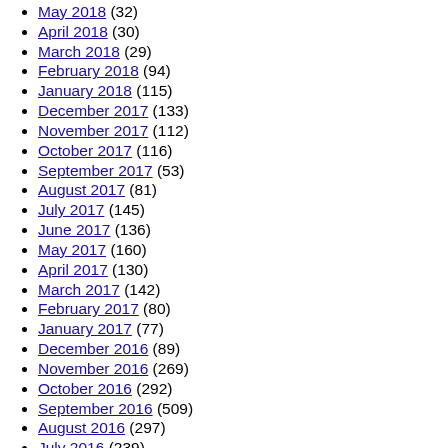May 2018 (32)
April 2018 (30)
March 2018 (29)
February 2018 (94)
January 2018 (115)
December 2017 (133)
November 2017 (112)
October 2017 (116)
September 2017 (53)
August 2017 (81)
July 2017 (145)
June 2017 (136)
May 2017 (160)
April 2017 (130)
March 2017 (142)
February 2017 (80)
January 2017 (77)
December 2016 (89)
November 2016 (269)
October 2016 (292)
September 2016 (509)
August 2016 (297)
July 2016 (239)
June 2016 (170)
May 2016 (199)
April 2016 (171)